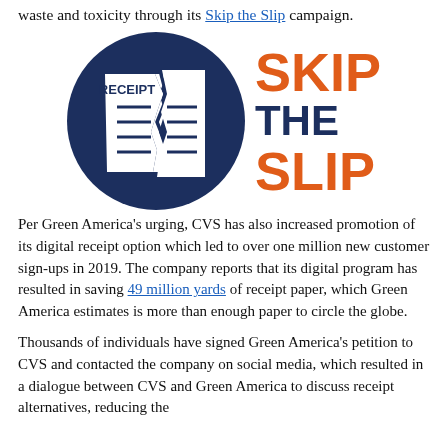waste and toxicity through its Skip the Slip campaign.
[Figure (illustration): Skip the Slip campaign logo: a dark navy blue circle containing a torn receipt, next to bold text reading SKIP THE SLIP where SKIP and SLIP are in orange and THE is in dark navy blue.]
Per Green America's urging, CVS has also increased promotion of its digital receipt option which led to over one million new customer sign-ups in 2019. The company reports that its digital program has resulted in saving 49 million yards of receipt paper, which Green America estimates is more than enough paper to circle the globe.
Thousands of individuals have signed Green America's petition to CVS and contacted the company on social media, which resulted in a dialogue between CVS and Green America to discuss receipt alternatives, reducing the